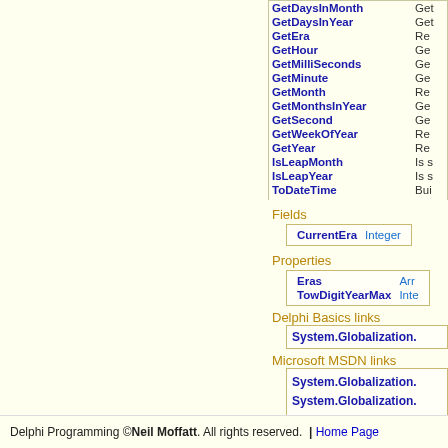| Method | Description |
| --- | --- |
| GetDaysInMonth | Get... |
| GetDaysInYear | Get... |
| GetEra | Re... |
| GetHour | Ge... |
| GetMilliSeconds | Ge... |
| GetMinute | Ge... |
| GetMonth | Re... |
| GetMonthsInYear | Ge... |
| GetSecond | Ge... |
| GetWeekOfYear | Re... |
| GetYear | Re... |
| IsLeapMonth | Is s... |
| IsLeapYear | Is s... |
| ToDateTime | Bui... |
| ToFourDigitYear | Co... |
Fields
| Field | Type |
| --- | --- |
| CurrentEra | Integer |
Properties
| Property | Type |
| --- | --- |
| Eras | Arr... |
| TowDigitYearMax | Inte... |
Delphi Basics links
System.Globalization.
Microsoft MSDN links
System.Globalization.
System.Globalization.
Delphi Programming © Neil Moffatt . All rights reserved.  |  Home Page